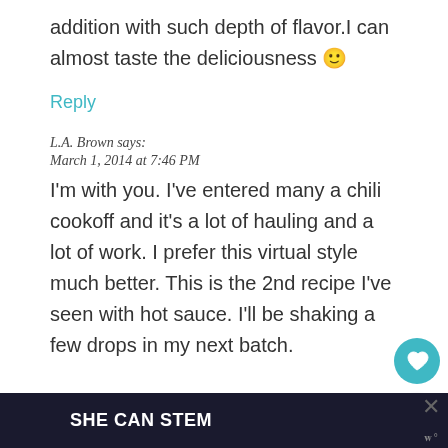addition with such depth of flavor.I can almost taste the deliciousness 🙂
Reply
L.A. Brown says:
March 1, 2014 at 7:46 PM
I'm with you. I've entered many a chili cookoff and it's a lot of hauling and a lot of work. I prefer this virtual style much better. This is the 2nd recipe I've seen with hot sauce. I'll be shaking a few drops in my next batch.
[Figure (other): SHE CAN STEM banner advertisement at the bottom of the page with a close button and wordmark]